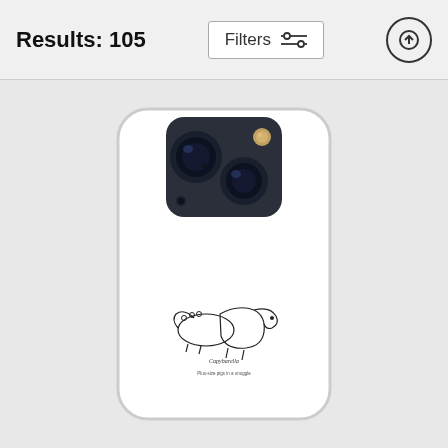Results: 105
[Figure (screenshot): A white iPhone case with a small cartoon drawing of capybara-like animals and text at the bottom, shown on a gray background. The case has a dual-camera cutout at the top.]